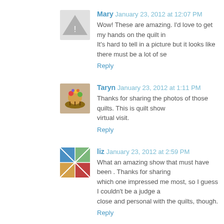[Figure (illustration): Gray triangle warning/placeholder avatar icon for Mary]
Mary  January 23, 2012 at 12:07 PM
Wow! These are amazing. I'd love to get my hands on the quilt in... It's hard to tell in a picture but it looks like there must be a lot of se...
Reply
[Figure (illustration): Colorful flower basket avatar image for Taryn]
Taryn  January 23, 2012 at 1:11 PM
Thanks for sharing the photos of those quilts. This is quilt show... virtual visit.
Reply
[Figure (illustration): Colorful quilt block avatar image for liz]
liz  January 23, 2012 at 2:59 PM
What an amazing show that must have been . Thanks for sharing... which one impressed me most, so I guess I couldn't be a judge a... close and personal with the quilts, though.
Reply
[Figure (illustration): Dark themed quilt or sewing related avatar image for Pat]
Pat  January 23, 2012 at 3:11 PM